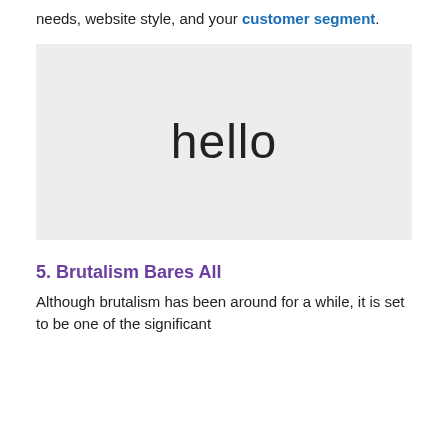needs, website style, and your customer segment.
[Figure (screenshot): A light gray box with the word 'hello' displayed in a thin sans-serif font, centered in the image.]
5. Brutalism Bares All
Although brutalism has been around for a while, it is set to be one of the significant